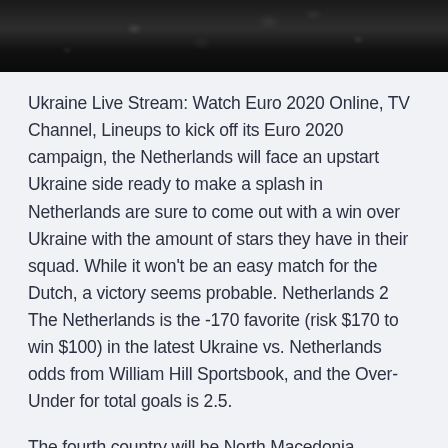[Figure (photo): Dark, grainy black and white photograph, possibly a nighttime or underwater scene with some light reflections.]
Ukraine Live Stream: Watch Euro 2020 Online, TV Channel, Lineups to kick off its Euro 2020 campaign, the Netherlands will face an upstart Ukraine side ready to make a splash in Netherlands are sure to come out with a win over Ukraine with the amount of stars they have in their squad. While it won't be an easy match for the Dutch, a victory seems probable. Netherlands 2 The Netherlands is the -170 favorite (risk $170 to win $100) in the latest Ukraine vs. Netherlands odds from William Hill Sportsbook, and the Over-Under for total goals is 2.5.
The fourth country will be North Macedonia.